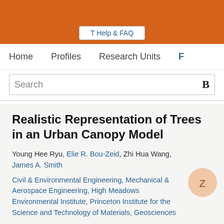T Help & FAQ
Home   Profiles   Research Units   F
Realistic Representation of Trees in an Urban Canopy Model
Young Hee Ryu, Elie R. Bou-Zeid, Zhi Hua Wang, James A. Smith
Civil & Environmental Engineering, Mechanical & Aerospace Engineering, High Meadows Environmental Institute, Princeton Institute for the Science and Technology of Materials, Geosciences
Research output: Contribution to journal › Article › peer-